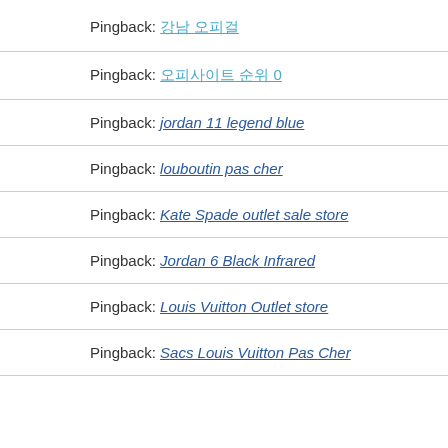Pingback: 강남 오피걸
Pingback: 오피사이트 순위 0
Pingback: jordan 11 legend blue
Pingback: louboutin pas cher
Pingback: Kate Spade outlet sale store
Pingback: Jordan 6 Black Infrared
Pingback: Louis Vuitton Outlet store
Pingback: Sacs Louis Vuitton Pas Cher